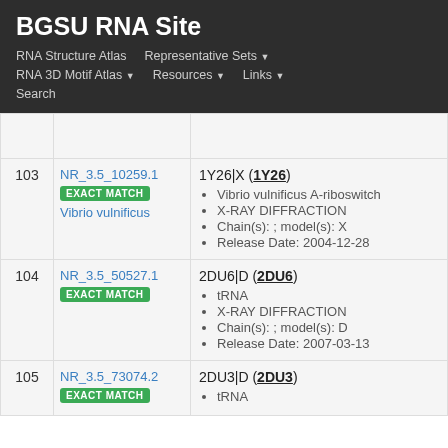BGSU RNA Site
RNA Structure Atlas | Representative Sets | RNA 3D Motif Atlas | Resources | Links | Search
| # | ID | Details |
| --- | --- | --- |
| 103 | NR_3.5_10259.1
EXACT MATCH
Vibrio vulnificus | 1Y26|X (1Y26)
• Vibrio vulnificus A-riboswitch
• X-RAY DIFFRACTION
• Chain(s): ; model(s): X
• Release Date: 2004-12-28 |
| 104 | NR_3.5_50527.1
EXACT MATCH | 2DU6|D (2DU6)
• tRNA
• X-RAY DIFFRACTION
• Chain(s): ; model(s): D
• Release Date: 2007-03-13 |
| 105 | NR_3.5_73074.2
EXACT MATCH | 2DU3|D (2DU3)
• tRNA |